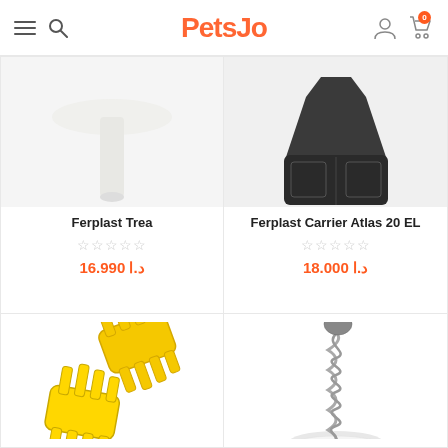PetsJo
[Figure (photo): Yellow plastic clip/clamp pet product (Ferplast Trea) - bottom of product image visible]
Ferplast Trea
★★★★★ (empty stars)
د.ا 16.990
[Figure (photo): Dark pet carrier bag (Ferplast Carrier Atlas 20 EL) - bottom of product image visible]
Ferplast Carrier Atlas 20 EL
★★★★★ (empty stars)
د.ا 18.000
[Figure (photo): Yellow plastic clip/clamp pet product - two yellow plastic claw-shaped clips]
[Figure (photo): Cat toy - grey mouse on a spring mounted on a colorful circular base]